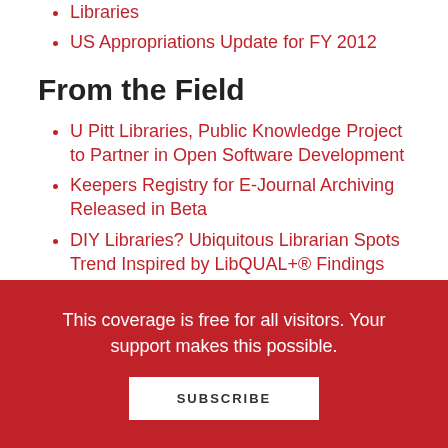Libraries
US Appropriations Update for FY 2012
From the Field
U Pitt Libraries, Public Knowledge Project to Partner in Open Software Development
Keepers Registry for E-Journal Archiving Released in Beta
DIY Libraries? Ubiquitous Librarian Spots Trend Inspired by LibQUAL+® Findings
Opportunities
This coverage is free for all visitors. Your support makes this possible.
SUBSCRIBE